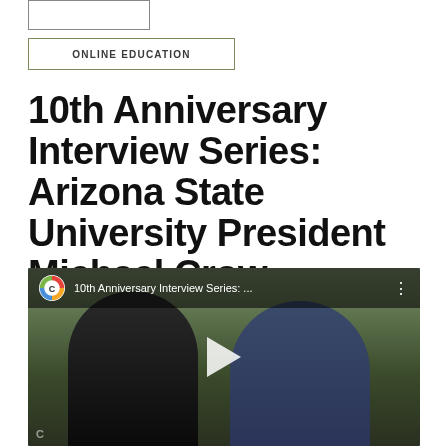ONLINE EDUCATION
10th Anniversary Interview Series: Arizona State University President Michael Crow
[Figure (screenshot): Video thumbnail showing two people being interviewed outdoors. Overlay shows Coursera-style 'C' logo and text '10th Anniversary Interview Series: ...' with a play button in the center.]